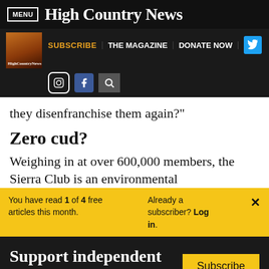MENU | High Country News
SUBSCRIBE | THE MAGAZINE | DONATE NOW
they disenfranchise them again?"
Zero cud?
Weighing in at over 600,000 members, the Sierra Club is an environmental
You have read 1 of 4 free articles this month. Already a subscriber? Log in.
Support independent journalism.
Subscribe